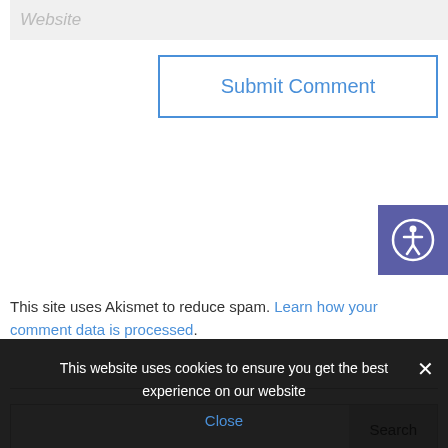Website
Submit Comment
[Figure (other): Accessibility icon - circular symbol with human figure, white on purple/indigo background]
This site uses Akismet to reduce spam. Learn how your comment data is processed.
Search
Recent Posts
This website uses cookies to ensure you get the best experience on our website
Close